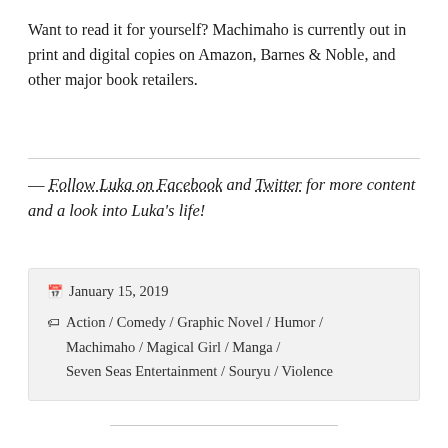Want to read it for yourself? Machimaho is currently out in print and digital copies on Amazon, Barnes & Noble, and other major book retailers.
— Follow Luka on Facebook and Twitter for more content and a look into Luka's life!
January 15, 2019 | Action / Comedy / Graphic Novel / Humor / Machimaho / Magical Girl / Manga / Seven Seas Entertainment / Souryu / Violence